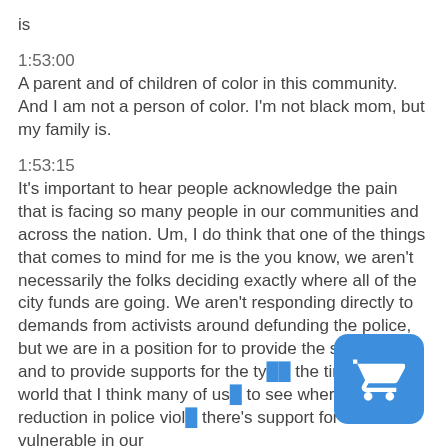is
1:53:00
A parent and of children of color in this community. And I am not a person of color. I'm not black mom, but my family is.
1:53:15
It's important to hear people acknowledge the pain that is facing so many people in our communities and across the nation. Um, I do think that one of the things that comes to mind for me is the you know, we aren't necessarily the folks deciding exactly where all of the city funds are going. We aren't responding directly to demands from activists around defunding the police, but we are in a position for to provide the scaffolding and to provide supports for the types of the time type of world that I think many of us to see where there's a reduction in police viol there's support for the most vulnerable in our
[Figure (illustration): Blue shopping cart button icon in the bottom-right corner]